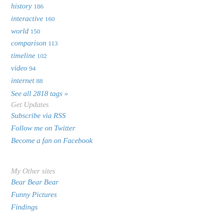history 186
interactive 160
world 150
comparison 113
timeline 102
video 94
internet 88
See all 2818 tags »
Get Updates
Subscribe via RSS
Follow me on Twitter
Become a fan on Facebook
My Other sites
Bear Bear Bear
Funny Pictures
Findings